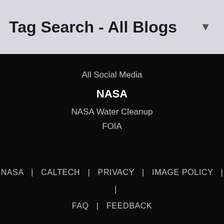Tag Search - All Blogs
All Social Media
NASA
NASA Water Cleanup
FOIA
NASA  |  CALTECH  |  PRIVACY  |  IMAGE POLICY  |  FAQ  |  FEEDBACK
Site Manager: Veronica McGregor
Site Editors: Tony Greicius, Randal Jackson, Naomi Hartono